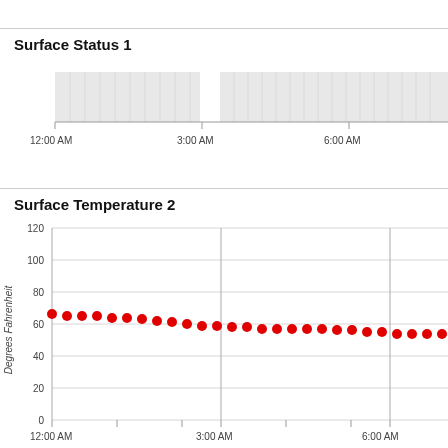Surface Status 1
[Figure (other): Surface status timeline chart showing gray shaded regions across time from 12:00 AM through past 6:00 AM, with tick marks at 12:00 AM, 3:00 AM, and 6:00 AM on x-axis.]
Surface Temperature 2
[Figure (scatter-plot): Scatter plot of surface temperature in degrees Fahrenheit over time from 12:00 AM to past 6:00 AM. Red dots show temperature starting around 66°F at midnight, declining gradually to around 54°F by 6:00 AM. Y-axis from 0 to 120 with gridlines at 0,20,40,60,80,100,120. Vertical reference lines at 3:00 AM and 6:00 AM.]